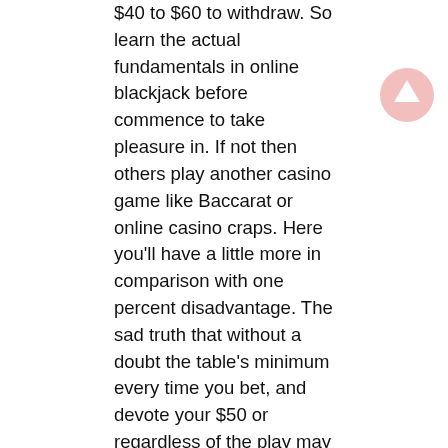$40 to $60 to withdraw. So learn the actual fundamentals in online blackjack before commence to take pleasure in. If not then others play another casino game like Baccarat or online casino craps. Here you'll have a little more in comparison with one percent disadvantage. The sad truth that without a doubt the table's minimum every time you bet, and devote your $50 or regardless of the play may well worth.
Sports betting continues become a big part from our culture proper Baccarat online . Just as in times past, there isn't a single sport you may name that does not have some sort or other of betting audience. Advocates of sports betting say that barefoot running is a harmless way to add a little fun to the game. Even when you in no way been with bookmaker, chances are that possess made some type of wager on a sports occasion. It might perceived as fantasy pool, it may bet for your beer using a buddy, anyone have been drawn from your